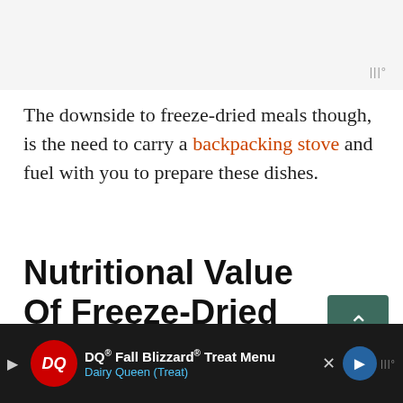[Figure (photo): Grey image placeholder at the top of the page]
The downside to freeze-dried meals though, is the need to carry a backpacking stove and fuel with you to prepare these dishes.
Nutritional Value Of Freeze-Dried Meals
Since all the vitamins and minerals are preserved in the freeze-drying process, there's no nutritional loss with freeze-dried foods
[Figure (other): DQ Fall Blizzard Treat Menu Dairy Queen advertisement banner at the bottom]